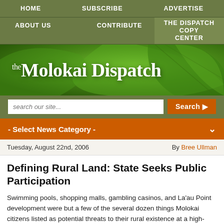HOME | SUBSCRIBE | ADVERTISE
ABOUT US | CONTRIBUTE | THE DISPATCH COPY CENTER
[Figure (illustration): The Molokai Dispatch newspaper banner with green tropical leaf background]
- Select News Category -
Tuesday, August 22nd, 2006   By Bree Ullman
Defining Rural Land: State Seeks Public Participation
Swimming pools, shopping malls, gambling casinos, and La'au Point development were but a few of the several dozen things Molokai citizens listed as potential threats to their rural existence at a high-attendance roundtable discussion held at Mitchell Paoule center on August 15.   At a Rural Land Roundtable held by Executive Officer Anthony Ching of the